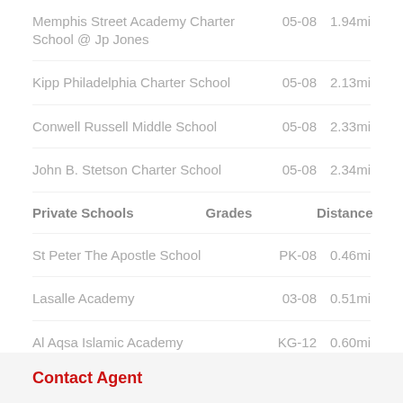Memphis Street Academy Charter School @ Jp Jones  05-08  1.94mi
Kipp Philadelphia Charter School  05-08  2.13mi
Conwell Russell Middle School  05-08  2.33mi
John B. Stetson Charter School  05-08  2.34mi
Private Schools  Grades  Distance
St Peter The Apostle School  PK-08  0.46mi
Lasalle Academy  03-08  0.51mi
Al Aqsa Islamic Academy  KG-12  0.60mi
St Malachy School  PK-08  0.92mi
Contact Agent